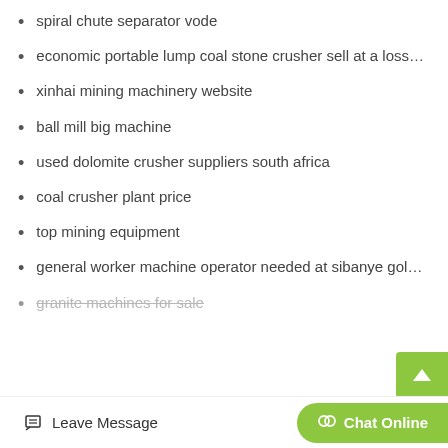spiral chute separator vode
economic portable lump coal stone crusher sell at a loss…
xinhai mining machinery website
ball mill big machine
used dolomite crusher suppliers south africa
coal crusher plant price
top mining equipment
general worker machine operator needed at sibanye gol…
granite machines for sale